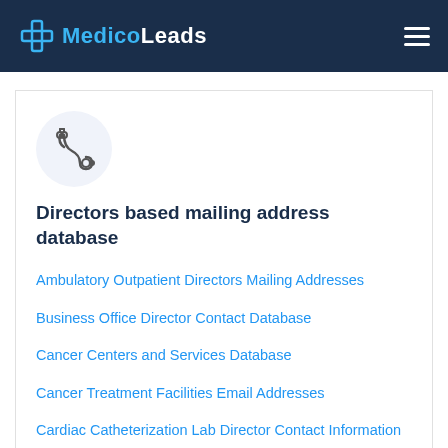MedicoLeads
Directors based mailing address database
Ambulatory Outpatient Directors Mailing Addresses
Business Office Director Contact Database
Cancer Centers and Services Database
Cancer Treatment Facilities Email Addresses
Cardiac Catheterization Lab Director Contact Information
Case Management Director Email Database